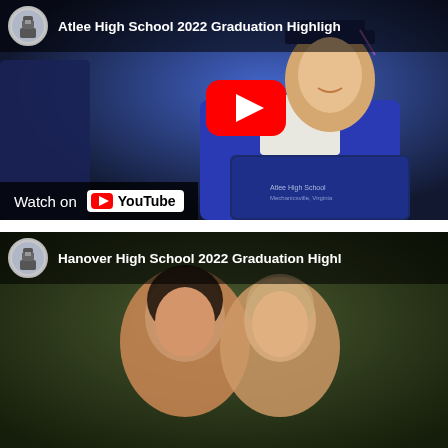[Figure (screenshot): YouTube video thumbnail for 'Atlee High School 2022 Graduation Highlights' showing a female graduate in blue cap and gown smiling and holding a diploma, with a red YouTube play button overlay and 'Watch on YouTube' bar at the bottom.]
[Figure (screenshot): YouTube video thumbnail for 'Hanover High School 2022 Graduation Highlights' showing two female graduates smiling and embracing, with a dark outdoor background.]